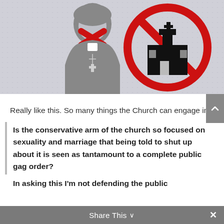[Figure (illustration): Illustration showing a grey silhouette of a priest/clergy figure with a red X over their mouth, next to a red circle-with-slash 'no' symbol over a black church building icon, on a light grey dotted background.]
Really like this. So many things the Church can engage in.
Is the conservative arm of the church so focused on sexuality and marriage that being told to shut up about it is seen as tantamount to a complete public gag order?
In asking this I'm not defending the public
Share This